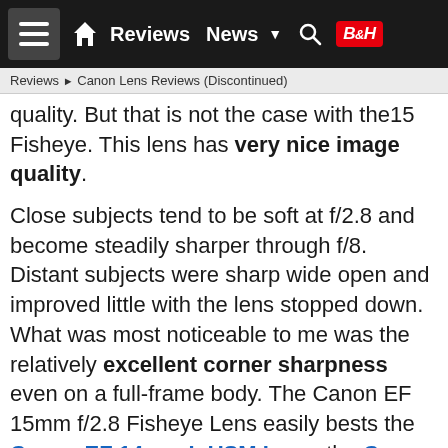≡  🏠  Reviews  News  ▼  🔍  B&H
Reviews ▶ Canon Lens Reviews (Discontinued)
quality. But that is not the case with the15 Fisheye. This lens has very nice image quality.
Close subjects tend to be soft at f/2.8 and become steadily sharper through f/8. Distant subjects were sharp wide open and improved little with the lens stopped down. What was most noticeable to me was the relatively excellent corner sharpness even on a full-frame body. The Canon EF 15mm f/2.8 Fisheye Lens easily bests the Canon EF 14mm L USM Lens, the Canon EF 16-35mm L USM Lens and the Canon EF 17-40mm L USM Lens for corner sharpness. At least until it is converted to rectilinear.